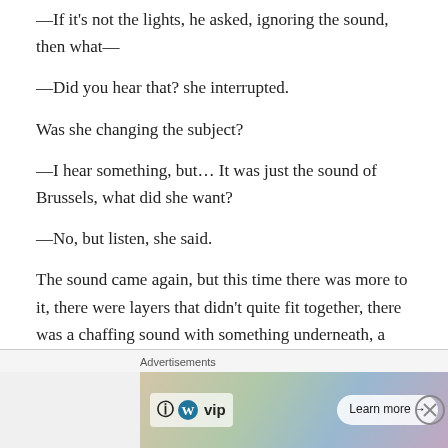—If it's not the lights, he asked, ignoring the sound, then what—
—Did you hear that? she interrupted.
Was she changing the subject?
—I hear something, but… It was just the sound of Brussels, what did she want?
—No, but listen, she said.
The sound came again, but this time there was more to it, there were layers that didn't quite fit together, there was a chaffing sound with something underneath, a faint sucking, but they didn't make sense together.
[Figure (screenshot): Advertisement banner showing WordPress VIP logo and a 'Learn more' button on a colorful background with social media imagery. Labeled 'Advertisements' with a close button.]